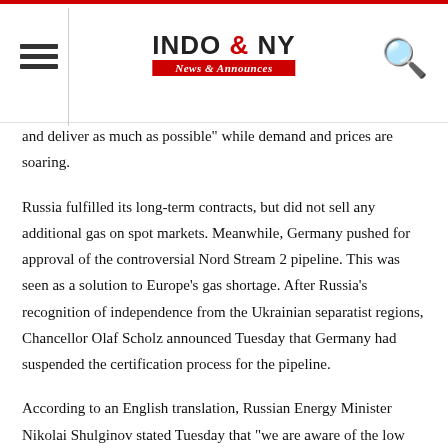INDO & NY News & Announces
and deliver as much as possible" while demand and prices are soaring.
Russia fulfilled its long-term contracts, but did not sell any additional gas on spot markets. Meanwhile, Germany pushed for approval of the controversial Nord Stream 2 pipeline. This was seen as a solution to Europe's gas shortage. After Russia's recognition of independence from the Ukrainian separatist regions, Chancellor Olaf Scholz announced Tuesday that Germany had suspended the certification process for the pipeline.
According to an English translation, Russian Energy Minister Nikolai Shulginov stated Tuesday that "we are aware of the low resources gas in European countries," according to a statement he made at a forum for gas producers in Qatar. He